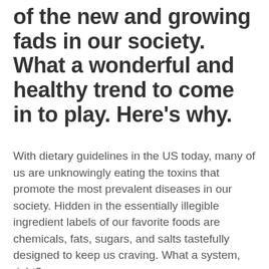of the new and growing fads in our society. What a wonderful and healthy trend to come in to play. Here's why.
With dietary guidelines in the US today, many of us are unknowingly eating the toxins that promote the most prevalent diseases in our society. Hidden in the essentially illegible ingredient labels of our favorite foods are chemicals, fats, sugars, and salts tastefully designed to keep us craving. What a system, right?